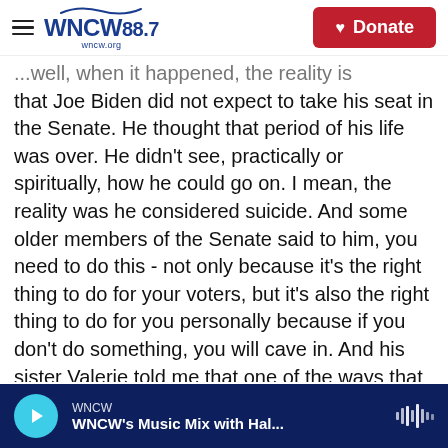WNCW 88.7 | wncw.org | Donate
...well, when it happened, the reality is that Joe Biden did not expect to take his seat in the Senate. He thought that period of his life was over. He didn't see, practically or spiritually, how he could go on. I mean, the reality was he considered suicide. And some older members of the Senate said to him, you need to do this - not only because it's the right thing to do for your voters, but it's also the right thing to do for you personally because if you don't do something, you will cave in. And his sister Valerie told me that one of the ways that they were able to get him off the floor, in effect, was by telling him, you have two boys at home now who
WNCW — WNCW's Music Mix with Hal...